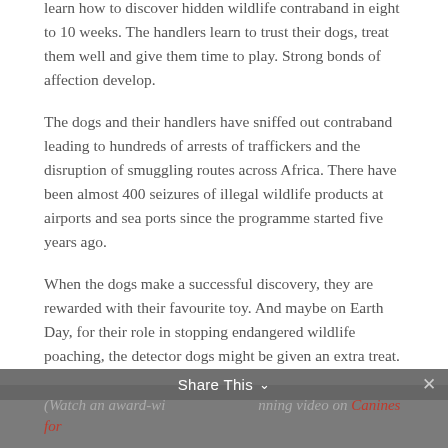learn how to discover hidden wildlife contraband in eight to 10 weeks. The handlers learn to trust their dogs, treat them well and give them time to play. Strong bonds of affection develop.
The dogs and their handlers have sniffed out contraband leading to hundreds of arrests of traffickers and the disruption of smuggling routes across Africa. There have been almost 400 seizures of illegal wildlife products at airports and sea ports since the programme started five years ago.
When the dogs make a successful discovery, they are rewarded with their favourite toy. And maybe on Earth Day, for their role in stopping endangered wildlife poaching, the detector dogs might be given an extra treat.
(Watch an award-winning video on Canines for Conservation by Mike Anscombe...